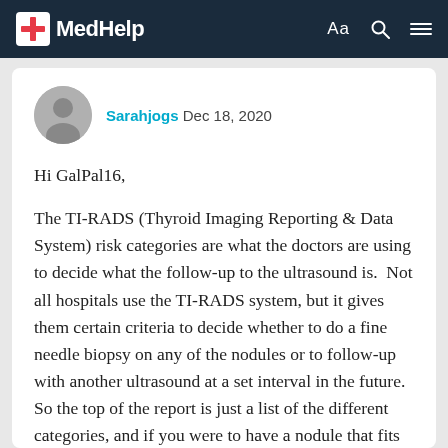MedHelp
Sarahjogs Dec 18, 2020
Hi GalPal16,
The TI-RADS (Thyroid Imaging Reporting & Data System) risk categories are what the doctors are using to decide what the follow-up to the ultrasound is.  Not all hospitals use the TI-RADS system, but it gives them certain criteria to decide whether to do a fine needle biopsy on any of the nodules or to follow-up with another ultrasound at a set interval in the future.  So the top of the report is just a list of the different categories, and if you were to have a nodule that fits one of the criteria for biopsy, then they would